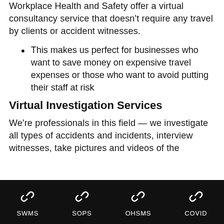Workplace Health and Safety offer a virtual consultancy service that doesn't require any travel by clients or accident witnesses.
This makes us perfect for businesses who want to save money on expensive travel expenses or those who want to avoid putting their staff at risk
Virtual Investigation Services
We're professionals in this field — we investigate all types of accidents and incidents, interview witnesses, take pictures and videos of the
SWMS   SOPS   OHSMS   COVID